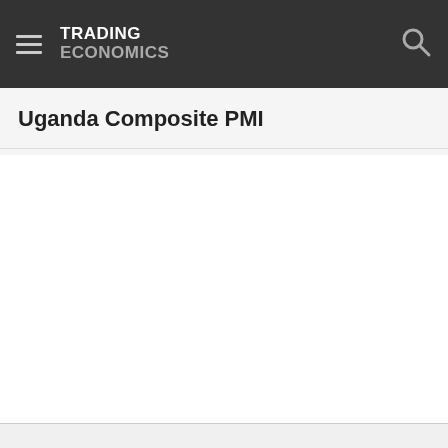TRADING ECONOMICS
Uganda Composite PMI